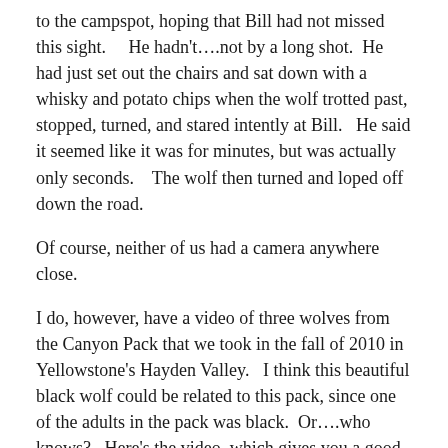to the campspot, hoping that Bill had not missed this sight.    He hadn't….not by a long shot.  He had just set out the chairs and sat down with a whisky and potato chips when the wolf trotted past, stopped, turned, and stared intently at Bill.   He said it seemed like it was for minutes, but was actually only seconds.    The wolf then turned and loped off down the road.
Of course, neither of us had a camera anywhere close.
I do, however, have a video of three wolves from the Canyon Pack that we took in the fall of 2010 in Yellowstone's Hayden Valley.   I think this beautiful black wolf could be related to this pack, since one of the adults in the pack was black.  Or….who knows?   Here's the video, which gives you a good sense of how self-assured and regal these animals can be: